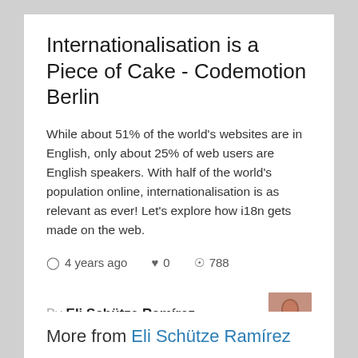Internationalisation is a Piece of Cake - Codemotion Berlin
While about 51% of the world's websites are in English, only about 25% of web users are English speakers. With half of the world's population online, internationalisation is as relevant as ever! Let's explore how i18n gets made on the web.
4 years ago   0   788
By Eli Schütze Ramírez
elibelly
More from Eli Schütze Ramírez